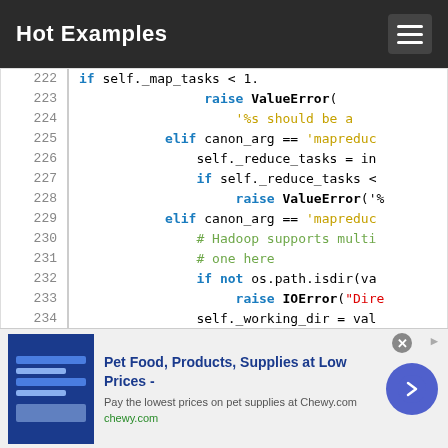Hot Examples
[Figure (screenshot): Code block showing Python source lines 222-234 with syntax highlighting. Keywords in blue, strings in gold, comments in green, built-ins in bold.]
[Figure (infographic): Advertisement banner for Chewy.com: Pet Food, Products, Supplies at Low Prices. Pay the lowest prices on pet supplies at Chewy.com. chewy.com]